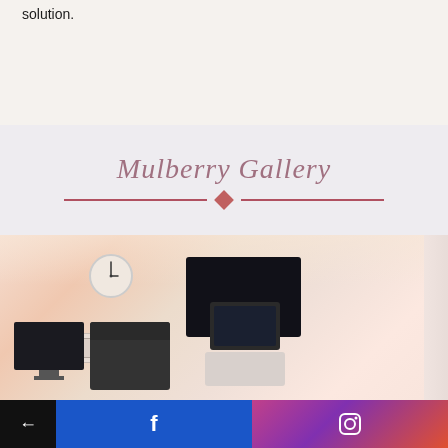solution.
Mulberry Gallery
[Figure (photo): Medical room interior with ultrasound machine, monitors, printer, clock on wall, and orange/warm lighting]
← f ☎